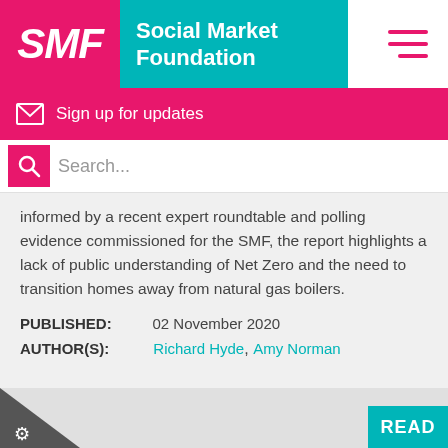SMF Social Market Foundation
Sign up for updates
Search...
informed by a recent expert roundtable and polling evidence commissioned for the SMF, the report highlights a lack of public understanding of Net Zero and the need to transition homes away from natural gas boilers.
PUBLISHED: 02 November 2020
AUTHOR(S): Richard Hyde, Amy Norman
READ